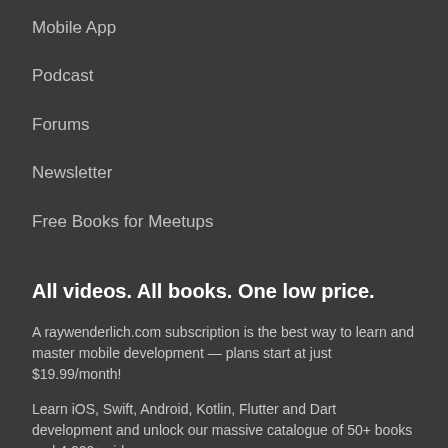Mobile App
Podcast
Forums
Newsletter
Free Books for Meetups
All videos. All books. One low price.
A raywenderlich.com subscription is the best way to learn and master mobile development — plans start at just $19.99/month!
Learn iOS, Swift, Android, Kotlin, Flutter and Dart development and unlock our massive catalogue of 50+ books and 4,000+ videos.
Learn more